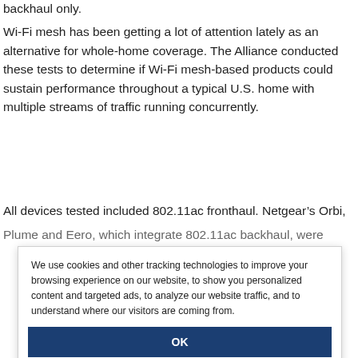backhaul only.
Wi-Fi mesh has been getting a lot of attention lately as an alternative for whole-home coverage. The Alliance conducted these tests to determine if Wi-Fi mesh-based products could sustain performance throughout a typical U.S. home with multiple streams of traffic running concurrently.
All devices tested included 802.11ac fronthaul. Netgear’s Orbi, Plume and Eero, which integrate 802.11ac backhaul, were
We use cookies and other tracking technologies to improve your browsing experience on our website, to show you personalized content and targeted ads, to analyze our website traffic, and to understand where our visitors are coming from.
OK
Change my preferences